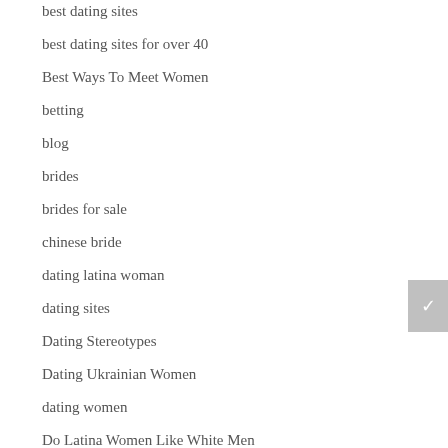best dating sites
best dating sites for over 40
Best Ways To Meet Women
betting
blog
brides
brides for sale
chinese bride
dating latina woman
dating sites
Dating Stereotypes
Dating Ukrainian Women
dating women
Do Latina Women Like White Men
Ehefrauen aus der Ukraine